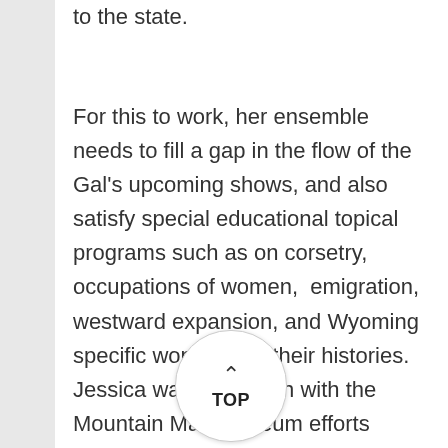to the state.
For this to work, her ensemble needs to fill a gap in the flow of the Gal's upcoming shows, and also satisfy special educational topical programs such as on corsetry, occupations of women,  emigration, westward expansion, and Wyoming specific women and their histories.  Jessica wanted to fit in with the Mountain Man museum efforts which focus on the 1820 to '40's, but there weren't many women involved of "repute" that we could find until at least 1840 in the region.  Later we would find gold miners